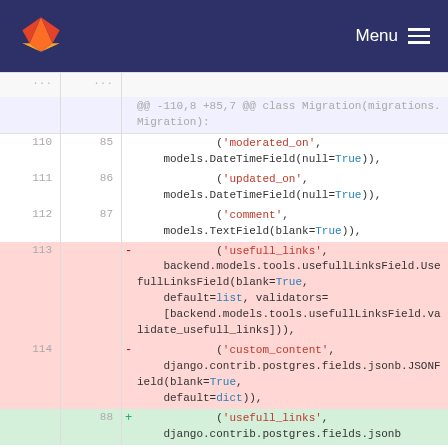[Figure (screenshot): GitLab navigation bar with logo and Menu button]
Git diff view showing code changes in a Django migration file. Lines 110-112/85-87 show context. Lines 113-114 show removed lines (usefull_links and custom_content fields). Line 88 shows an added line (usefull_links with django.contrib.postgres).